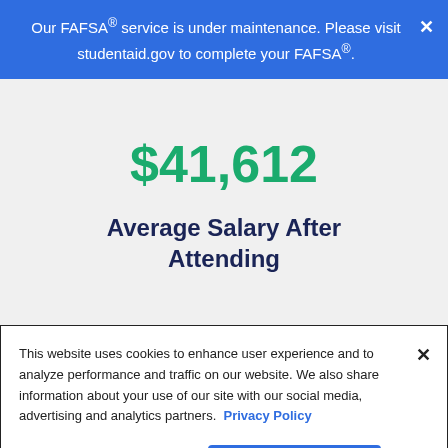Our FAFSA® service is under maintenance. Please visit studentaid.gov to complete your FAFSA®.
$41,612
Average Salary After Attending
This website uses cookies to enhance user experience and to analyze performance and traffic on our website. We also share information about your use of our site with our social media, advertising and analytics partners. Privacy Policy
Manage Cookies
Accept Cookies